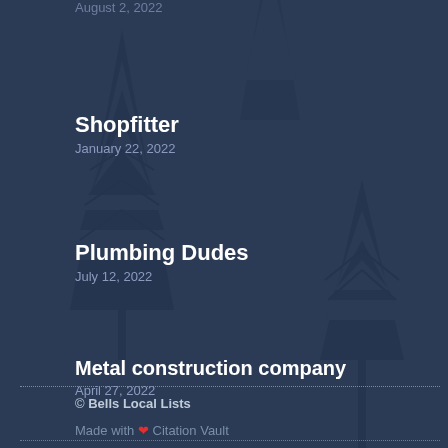Shopfitter
January 22, 2022
Plumbing Dudes
July 12, 2022
Metal construction company
April 27, 2022
© Bells Local Lists
Made with ❤ Citation Vault